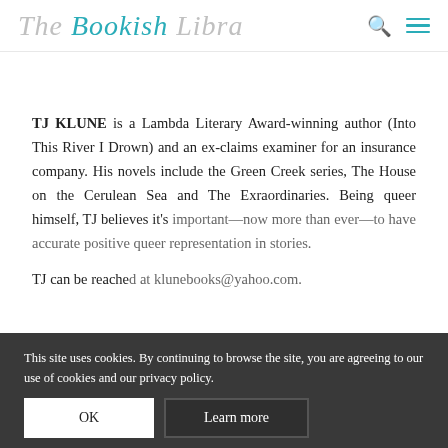The Bookish Libra
TJ KLUNE is a Lambda Literary Award-winning author (Into This River I Drown) and an ex-claims examiner for an insurance company. His novels include the Green Creek series, The House on the Cerulean Sea and The Exraordinaries. Being queer himself, TJ believes it's important—now more than ever—to have accurate positive queer representation in stories.
TJ can be reached at klunebooks@yahoo.com.
This site uses cookies. By continuing to browse the site, you are agreeing to our use of cookies and our privacy policy.